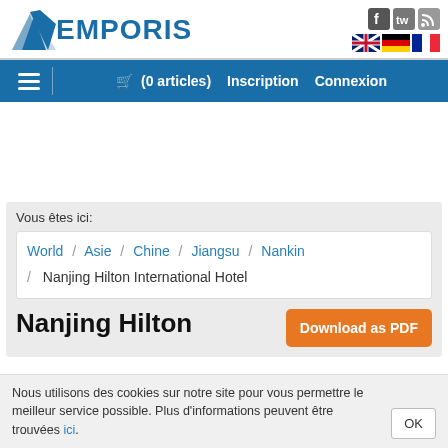[Figure (logo): Emporis logo with blue triangle/arrow graphic and EMPORIS text in blue]
🛒 (0 articles)   Inscription   Connexion
Vous êtes ici:
World / Asie / Chine / Jiangsu / Nankin / Nanjing Hilton International Hotel
Nanjing Hilton
Download as PDF
Nous utilisons des cookies sur notre site pour vous permettre le meilleur service possible. Plus d'informations peuvent être trouvées ici.